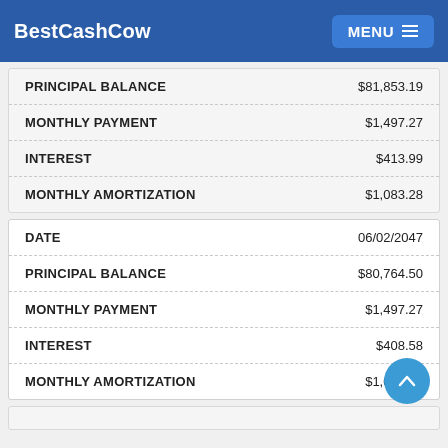BestCashCow — MENU
| Field | Value |
| --- | --- |
| PRINCIPAL BALANCE | $81,853.19 |
| MONTHLY PAYMENT | $1,497.27 |
| INTEREST | $413.99 |
| MONTHLY AMORTIZATION | $1,083.28 |
| Field | Value |
| --- | --- |
| DATE | 06/02/2047 |
| PRINCIPAL BALANCE | $80,764.50 |
| MONTHLY PAYMENT | $1,497.27 |
| INTEREST | $408.58 |
| MONTHLY AMORTIZATION | $1,088.69 |